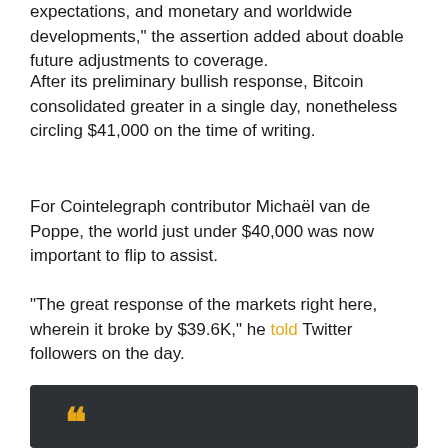expectations, and monetary and worldwide developments," the assertion added about doable future adjustments to coverage.
After its preliminary bullish response, Bitcoin consolidated greater in a single day, nonetheless circling $41,000 on the time of writing.
For Cointelegraph contributor Michaël van de Poppe, the world just under $40,000 was now important to flip to assist.
"The great response of the markets right here, wherein it broke by $39.6K," he told Twitter followers on the day.
“Subsequent would be the query of whether or not we are able to sweep